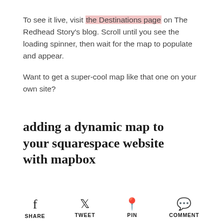To see it live, visit the Destinations page on The Redhead Story's blog. Scroll until you see the loading spinner, then wait for the map to populate and appear.
Want to get a super-cool map like that one on your own site?
adding a dynamic map to your squarespace website with mapbox
SHARE  TWEET  PIN  COMMENT